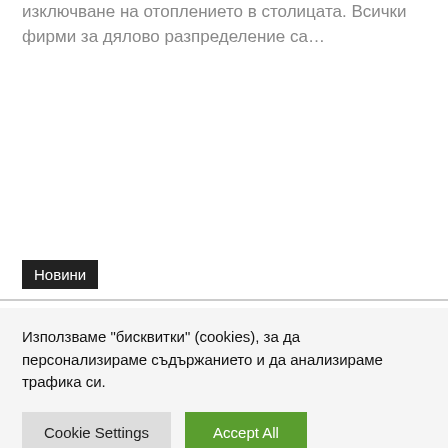изключване на отоплението в столицата. Всички фирми за дялово разпределение са…
Новини
Използваме "бисквитки" (cookies), за да персонализираме съдържанието и да анализираме трафика си.